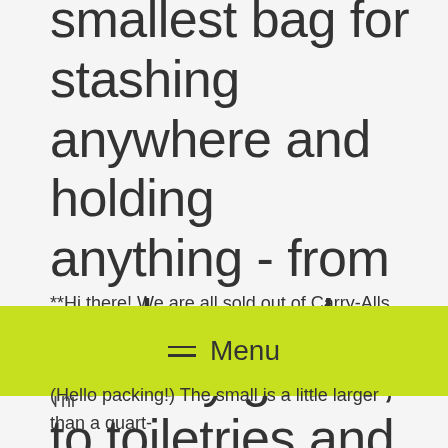smallest bag for stashing anywhere and holding anything - from produce and bulk dry goods, to toiletries and wet swimsuits.
**Hi there! We are all sold out of Carry-Alls due to recent press but sign up to our newsletter or follow us on IG to be notified when we will be restocked!
[Figure (other): Lime green mobile navigation menu bar with hamburger icon and 'Menu' label]
(Hello packing!) The small is a little larger than a quart-